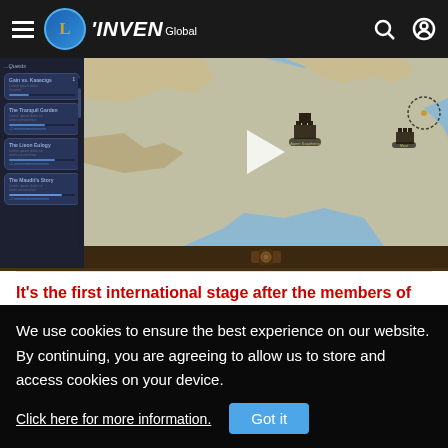INVEN Global
[Figure (screenshot): Video thumbnail of a strategy/RPG game showing a quest sidebar panel on the left and a map view on the right with a play button overlay]
It's the first international stage after the members of iG changed. You got two wins, how do you feel?
Although I've been to several international competitions, it's
We use cookies to ensure the best experience on our website. By continuing, you are agreeing to allow us to store and access cookies on your device. Click here for more information. Got it